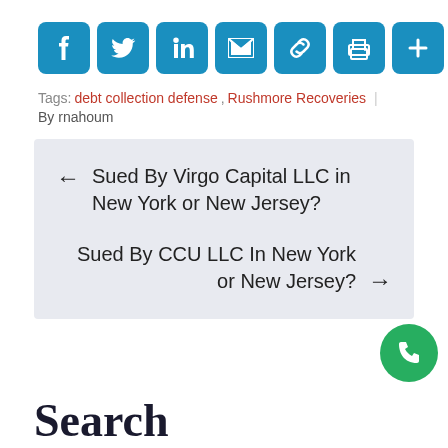[Figure (other): Social media sharing icons: Facebook, Twitter, LinkedIn, Email, Link, Print, Plus/More]
Tags: debt collection defense, Rushmore Recoveries | By rnahoum
← Sued By Virgo Capital LLC in New York or New Jersey?
Sued By CCU LLC In New York or New Jersey? →
Search